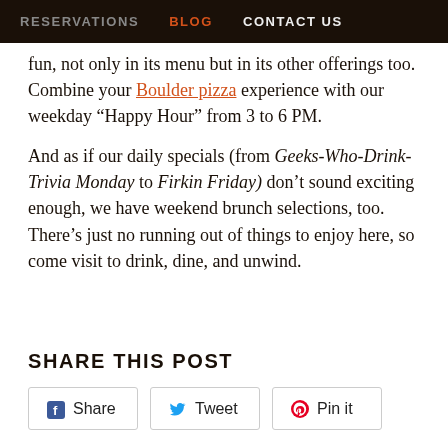RESERVATIONS   BLOG   CONTACT US
fun, not only in its menu but in its other offerings too. Combine your Boulder pizza experience with our weekday “Happy Hour” from 3 to 6 PM.
And as if our daily specials (from Geeks-Who-Drink-Trivia Monday to Firkin Friday) don’t sound exciting enough, we have weekend brunch selections, too. There’s just no running out of things to enjoy here, so come visit to drink, dine, and unwind.
SHARE THIS POST
Share
Tweet
Pin it